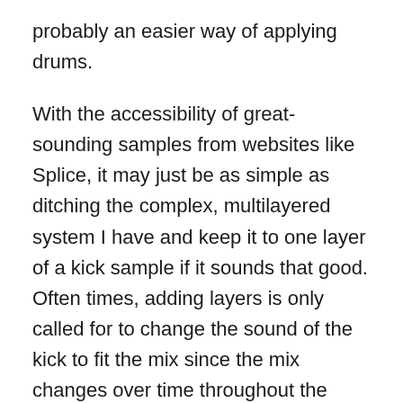probably an easier way of applying drums.

With the accessibility of great-sounding samples from websites like Splice, it may just be as simple as ditching the complex, multilayered system I have and keep it to one layer of a kick sample if it sounds that good. Often times, adding layers is only called for to change the sound of the kick to fit the mix since the mix changes over time throughout the making of the track. Same with EQ – a bare single-sample kick may sound great by itself, but until you apply it in a track, and the track evolves throughout the making thereof, I may find myself wanting to EQ it to fit that mix. To